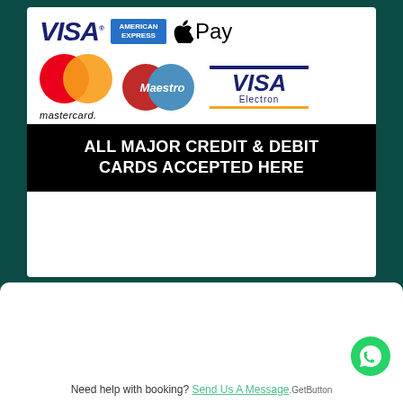[Figure (infographic): Payment methods accepted: Visa, American Express, Apple Pay, Mastercard, Maestro, Visa Electron logos displayed on white card against dark teal background]
ALL MAJOR CREDIT & DEBIT CARDS ACCEPTED HERE
From
₹31,500 per Person
Check Availability
Need help with booking? Send Us A Message .GetButton